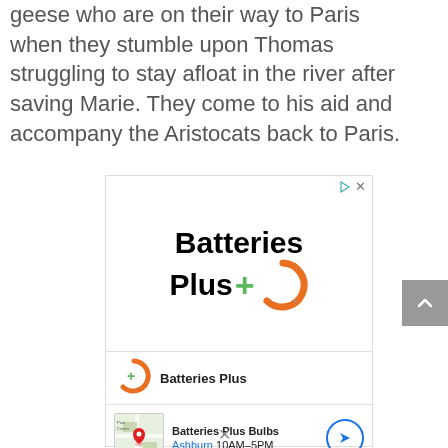geese who are on their way to Paris when they stumble upon Thomas struggling to stay afloat in the river after saving Marie. They come to his aid and accompany the Aristocats back to Paris.
[Figure (advertisement): Batteries Plus advertisement with logo showing 'Batteries Plus' in bold black text with orange C logo and green plus sign, plus a local business listing showing 'Batteries Plus Bulbs, Ashburn 10AM-5PM' with map thumbnail and navigation button]